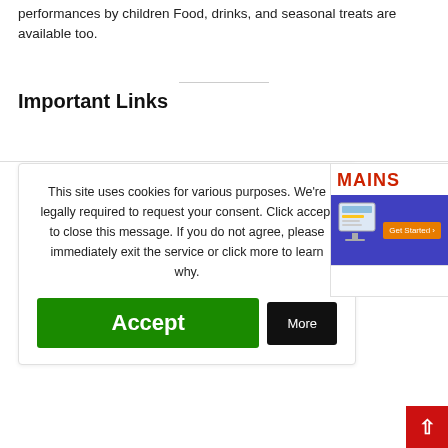performances by children Food, drinks, and seasonal treats are available too.
Important Links
This site uses cookies for various purposes. We're legally required to request your consent. Click accept to close this message. If you do not agree, please immediately exit the service or click more to learn why.
[Figure (screenshot): Cookie consent card with Accept (green) and More (black) buttons]
[Figure (screenshot): Partial ad banner showing MAINS text in red and a purple Get Started banner with monitor graphic]